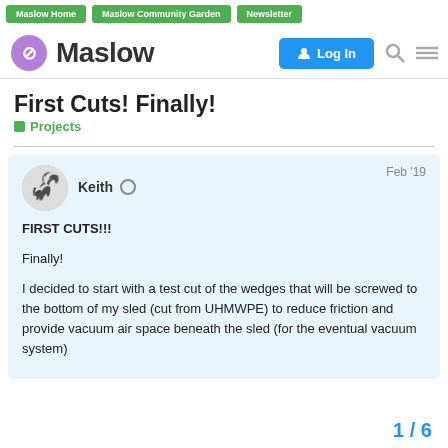Maslow Home | Maslow Community Garden | Newsletter
[Figure (logo): Maslow forum logo with purple circle containing M icon and Maslow text, plus Log In button and search/menu icons]
First Cuts! Finally!
Projects
Keith  Feb '19
FIRST CUTS!!!

Finally!

I decided to start with a test cut of the wedges that will be screwed to the bottom of my sled (cut from UHMWPE) to reduce friction and provide vacuum air space beneath the sled (for the eventual vacuum system)
1 / 6